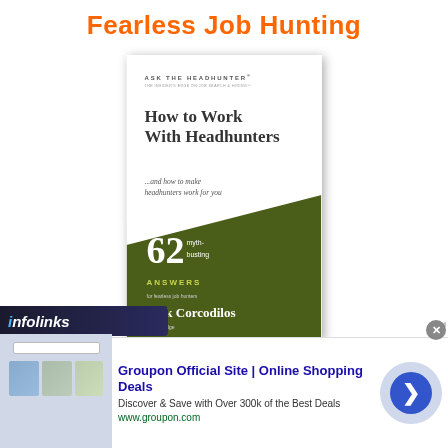Fearless Job Hunting
[Figure (photo): Book cover of 'How to Work With Headhunters ...and how to make headhunters work for you' by Nick Corcodilos, published by North Bridge Press. Features 62 myth-busting answers for fearless job hunters. Cover is white on top with a green diagonal section on the bottom.]
How to Work With Headhunters
[Figure (screenshot): Infolinks advertisement banner showing Groupon Official Site | Online Shopping Deals. 'Discover & Save with Over 300k of the Best Deals' with www.groupon.com URL.]